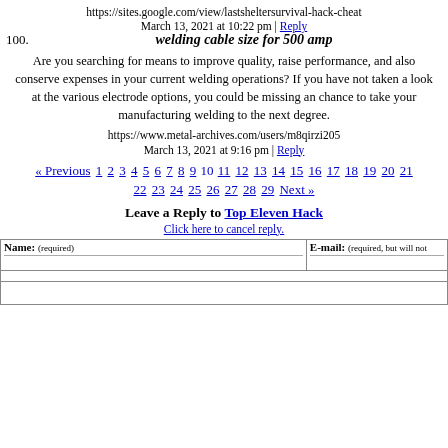https://sites.google.com/view/lastsheltersurvival-hack-cheat
March 13, 2021 at 10:22 pm | Reply
100. welding cable size for 500 amp
Are you searching for means to improve quality, raise performance, and also conserve expenses in your current welding operations? If you have not taken a look at the various electrode options, you could be missing an chance to take your manufacturing welding to the next degree.
https://www.metal-archives.com/users/m8qirzi205
March 13, 2021 at 9:16 pm | Reply
« Previous 1 2 3 4 5 6 7 8 9 10 11 12 13 14 15 16 17 18 19 20 21 22 23 24 25 26 27 28 29 Next »
Leave a Reply to Top Eleven Hack
Click here to cancel reply.
| Name: (required) | E-mail: (required, but will not be published) |
| --- | --- |